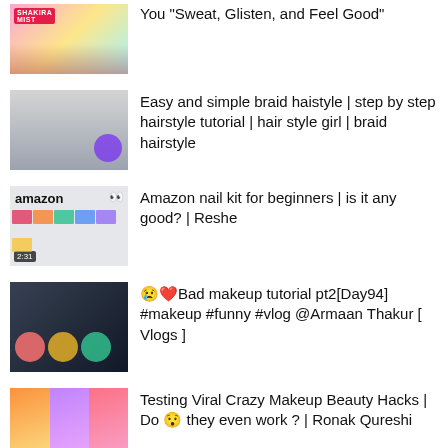You “Sweat, Glisten, and Feel Good”
Easy and simple braid haistyle | step by step hairstyle tutorial | hair style girl | braid hairstyle
Amazon nail kit for beginners | is it any good? | Reshe
😭❤️Bad makeup tutorial pt2[Day94] #makeup #funny #vlog @Armaan Thakur [ Vlogs ]
Testing Viral Crazy Makeup Beauty Hacks | Do 😯 they even work ? | Ronak Qureshi